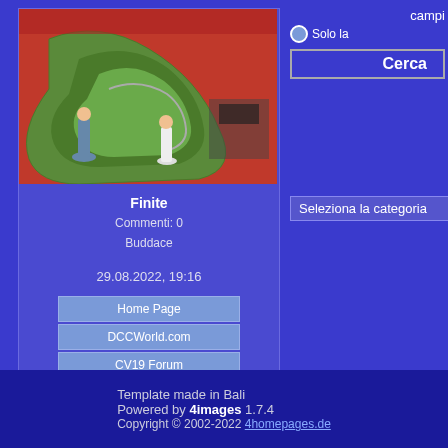[Figure (photo): Overhead/aerial view of a model train layout on red flooring at an exhibition, with people standing nearby]
Finite
Commenti: 0
Buddace
29.08.2022, 19:16
Home Page
DCCWorld.com
CV19 Forum
Seleziona la categoria
Template made in Bali
Powered by 4images 1.7.4
Copyright © 2002-2022 4homepages.de